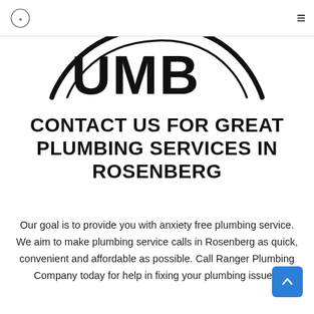Ranger Plumbing Company logo and navigation menu
[Figure (logo): Partial circular logo showing 'UMB' text in bold black lettering, part of 'PLUMBING' or similar brand name, circular stamp style]
CONTACT US FOR GREAT PLUMBING SERVICES IN ROSENBERG
Our goal is to provide you with anxiety free plumbing service. We aim to make plumbing service calls in Rosenberg as quick, convenient and affordable as possible. Call Ranger Plumbing Company today for help in fixing your plumbing issues.